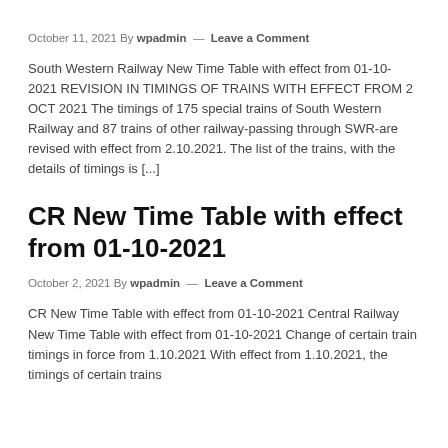October 11, 2021 By wpadmin — Leave a Comment
South Western Railway New Time Table with effect from 01-10-2021 REVISION IN TIMINGS OF TRAINS WITH EFFECT FROM 2 OCT 2021 The timings of 175 special trains of South Western Railway and 87 trains of other railway-passing through SWR-are revised with effect from 2.10.2021. The list of the trains, with the details of timings is [...]
CR New Time Table with effect from 01-10-2021
October 2, 2021 By wpadmin — Leave a Comment
CR New Time Table with effect from 01-10-2021 Central Railway New Time Table with effect from 01-10-2021 Change of certain train timings in force from 1.10.2021 With effect from 1.10.2021, the timings of certain trains